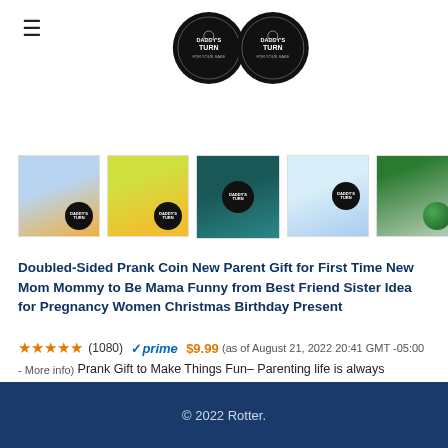[Figure (logo): Two round black coin logos with text DADDY'S TURN]
[Figure (photo): Five product thumbnail images showing a double-sided prank coin in various colorful backgrounds]
Doubled-Sided Prank Coin New Parent Gift for First Time New Mom Mommy to Be Mama Funny from Best Friend Sister Idea for Pregnancy Women Christmas Birthday Present
★★★★★ (1080) ✓prime $9.99 (as of August 21, 2022 20:41 GMT -05:00 - More info) Prank Gift to Make Things Fun– Parenting life is always accompanied by a myriad of stresses, and the active participation of dads is a pleasure for moms
© 2022 Rotter.